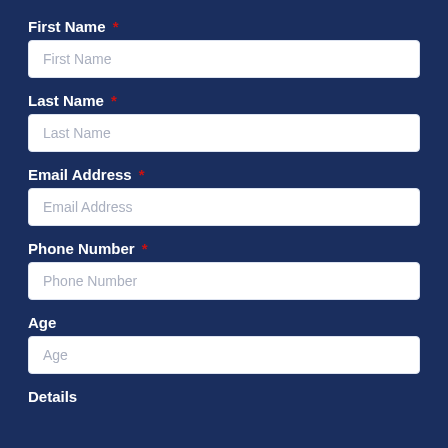First Name *
First Name
Last Name *
Last Name
Email Address *
Email Address
Phone Number *
Phone Number
Age
Age
Details